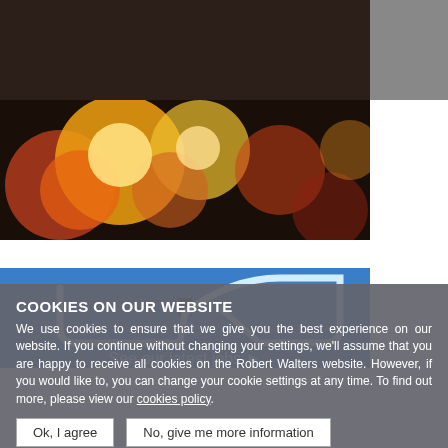ROBERT WALTERS | Get in touch
[Figure (photo): Bokeh background photo with colorful warm orange and yellow light circles against dark background]
[Figure (photo): Neon light tube shaped like a house/circuit on a blue background with text 'See our latest jobs']
COOKIES ON OUR WEBSITE
We use cookies to ensure that we give you the best experience on our website. If you continue without changing your settings, we'll assume that you are happy to receive all cookies on the Robert Walters website. However, if you would like to, you can change your cookie settings at any time. To find out more, please view our cookies policy.